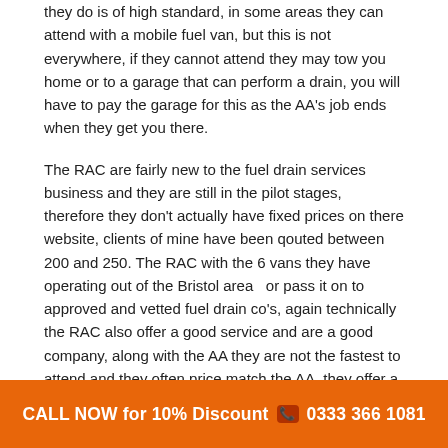they do is of high standard, in some areas they can attend with a mobile fuel van, but this is not everywhere, if they cannot attend they may tow you home or to a garage that can perform a drain, you will have to pay the garage for this as the AA's job ends when they get you there.
The RAC are fairly new to the fuel drain services business and they are still in the pilot stages, therefore they don't actually have fixed prices on there website, clients of mine have been qouted between 200 and 250. The RAC with the 6 vans they have operating out of the Bristol area  or pass it on to approved and vetted fuel drain co's, again technically the RAC also offer a good service and are a good company, along with the AA they are not the fastest to attend and they often price match the AA, they offer a £15 discount to members whereas the AA
CALL NOW for 10% Discount 📞 0333 366 1081